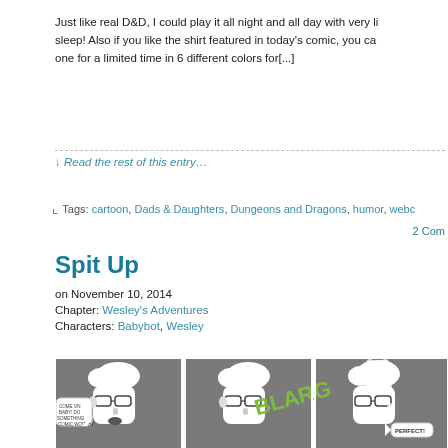Just like real D&D, I could play it all night and all day with very li... sleep! Also if you like the shirt featured in today's comic, you ca... one for a limited time in 6 different colors for[...]
↓ Read the rest of this entry…
Tags: cartoon, Dads & Daughters, Dungeons and Dragons, humor, webc... 2 Comments
Spit Up
on November 10, 2014
Chapter: Wesley's Adventures
Characters: Babybot, Wesley
[Figure (illustration): Three-panel comic strip showing a cartoon man with glasses. Panel 1: man with speech bubble 'COME ON BABY! DO SOMETHING COMIC WORTHY ALREADY!'. Panel 2: green 'BLARG' text splashing. Panel 3: man covered in spit-up with speech bubble 'PERFECT!'.]